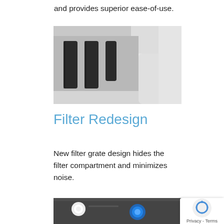and provides superior ease-of-use.
[Figure (photo): Close-up photo of a white appliance filter grate with vertical slot openings and rounded plastic housing]
Filter Redesign
New filter grate design hides the filter compartment and minimizes noise.
[Figure (photo): Close-up photo showing interior of appliance with LED lighting elements including a blue circular light]